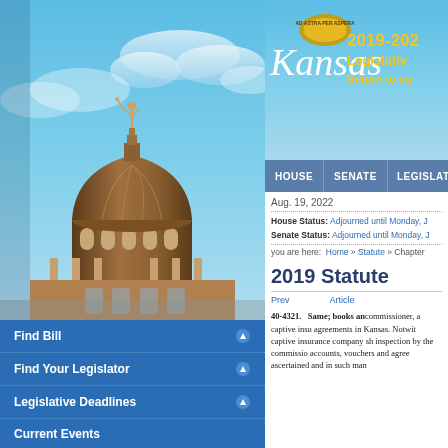[Figure (photo): Kansas State Capitol dome building with blue sky background, featuring a bronze statue on top]
[Figure (logo): Kansas legislative website header with Kansas text in italic serif font, golden seal/emblem, session year 2019-2022 in gold, Legislative link and Return to current text in gold]
HOUSE   SENATE   LEGISLATORS
Aug. 19, 2022
House Status: Adjourned until Monday, J...
Senate Status: Adjourned until Monday, J...
you are here:  Home » Statute » Chapter...
2019 Statute
Prev   Article...
40-4321.  Same; books and records. Upon request of the commissioner, a captive insurance company shall make available for inspection by the commissioner all books of account, records, accounts, vouchers and agreements in Kansas. Notwithstanding the foregoing, a captive insurance company shall maintain in Kansas such books, records, accounts, vouchers and agreements as may be ascertained and in such manner...
Find Bill
Find Your Legislator
Legislative Deadlines
Current Events
Statute
Legislative Resources
Administrative Services
Division of Post Audit
Information Services
Research Department